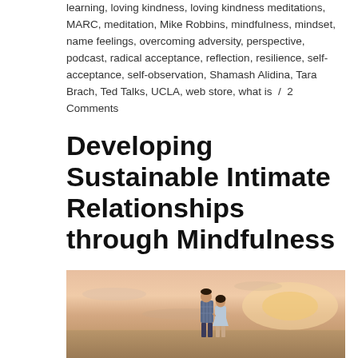learning, loving kindness, loving kindness meditations, MARC, meditation, Mike Robbins, mindfulness, mindset, name feelings, overcoming adversity, perspective, podcast, radical acceptance, reflection, resilience, self-acceptance, self-observation, Shamash Alidina, Tara Brach, Ted Talks, UCLA, web store, what is / 2 Comments
Developing Sustainable Intimate Relationships through Mindfulness
[Figure (photo): A couple walking together at sunset, warm pink and orange sky with clouds in background. The man wears a plaid shirt and the woman wears a light dress.]